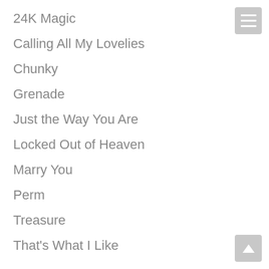24K Magic
Calling All My Lovelies
Chunky
Grenade
Just the Way You Are
Locked Out of Heaven
Marry You
Perm
Treasure
That's What I Like